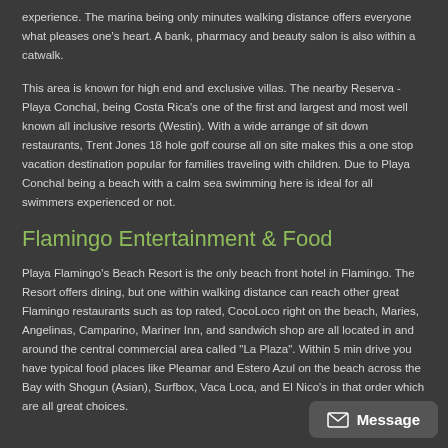experience.  The marina being only minutes walking distance offers everyone what pleases one's heart.   A bank, pharmacy and beauty salon is also within a catwalk.
This area is known for high end and exclusive villas.  The nearby Reserva - Playa Conchal, being Costa Rica's one of the first and largest and most well known all inclusive resorts (Westin).  With a wide arrange of sit down restaurants, Trent Jones 18 hole golf course all on site makes this a one stop vacation destination popular for families traveling with children.  Due to Playa Conchal being a beach with a calm sea swimming here is ideal for all swimmers experienced or not.
Flamingo Entertainment & Food
Playa Flamingo's Beach Resort is the only beach front hotel in Flamingo. The Resort offers dining, but one within walking distance can reach other great Flamingo restaurants such as top rated, CocoLoco right on the beach, Maries, Angelinas, Camparino, Mariner Inn, and sandwich shop are all located in and around the central commercial area called "La Plaza". Within 5 min drive you have typical food places like Pleamar and Estero Azul on the beach across the Bay with Shogun (Asian), Surfbox, Vaca Loca, and El Nico's in that order which are all great choices.